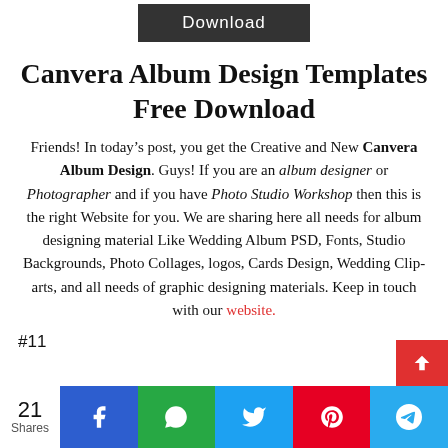[Figure (other): Dark grey Download button at top center]
Canvera Album Design Templates Free Download
Friends! In today’s post, you get the Creative and New Canvera Album Design. Guys! If you are an album designer or Photographer and if you have Photo Studio Workshop then this is the right Website for you. We are sharing here all needs for album designing material Like Wedding Album PSD, Fonts, Studio Backgrounds, Photo Collages, logos, Cards Design, Wedding Clip-arts, and all needs of graphic designing materials. Keep in touch with our website.
#11
[Figure (infographic): Social share bar with 21 Shares count, Facebook, WhatsApp, Twitter, Pinterest, Telegram icons]